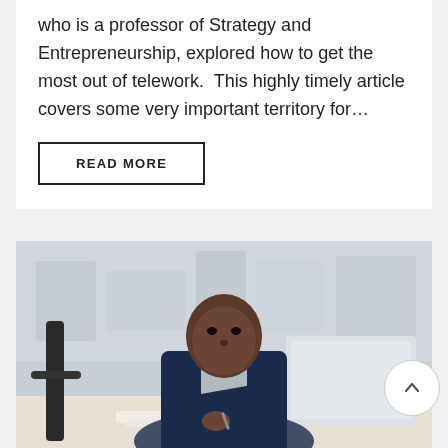who is a professor of Strategy and Entrepreneurship, explored how to get the most out of telework.  This highly timely article covers some very important territory for...
READ MORE
[Figure (photo): A Black man in a navy suit jacket writing at a desk with a laptop open in front of him, office environment in the background]